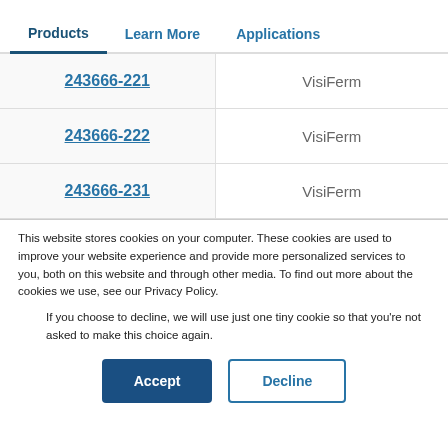Products | Learn More | Applications
| Product Code | Series |
| --- | --- |
| 243666-221 | VisiFerm |
| 243666-222 | VisiFerm |
| 243666-231 | VisiFerm |
This website stores cookies on your computer. These cookies are used to improve your website experience and provide more personalized services to you, both on this website and through other media. To find out more about the cookies we use, see our Privacy Policy.
If you choose to decline, we will use just one tiny cookie so that you're not asked to make this choice again.
Accept | Decline